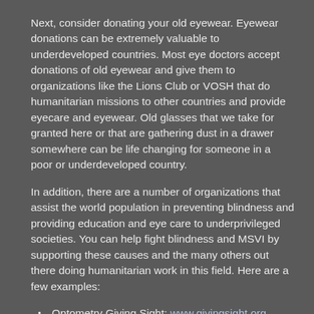Next, consider donating your old eyewear. Eyewear donations can be extremely valuable to underdeveloped countries. Most eye doctors accept donations of old eyewear and give them to organizations like the Lions Club or VOSH that do humanitarian missions to other countries and provide eyecare and eyewear. Old glasses that we take for granted here or that are gathering dust in a drawer somewhere can be life changing for someone in a poor or underdeveloped country.
In addition, there are a number of organizations that assist the world population in preventing blindness and providing education and eye care to underprivileged societies. You can help fight blindness and MSVI by supporting these causes and the many others out there doing humanitarian work in this field. Here are a few examples:
Optometry Giving Sight: www.givingsight.org
Eye Care 4 Kids: eyecare4kids.org
Sightsavers: www.sightsavers.org
See International: www.seeintl.org